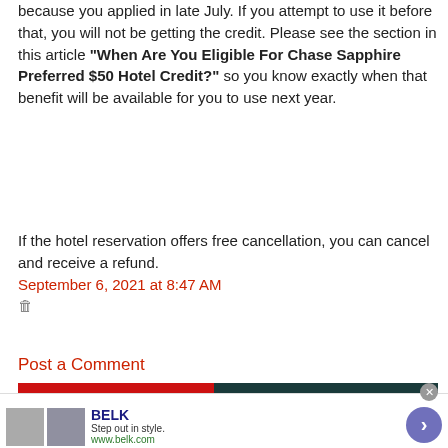because you applied in late July. If you attempt to use it before that, you will not be getting the credit. Please see the section in this article "When Are You Eligible For Chase Sapphire Preferred $50 Hotel Credit?" so you know exactly when that benefit will be available for you to use next year.
If the hotel reservation offers free cancellation, you can cancel and receive a refund.
September 6, 2021 at 8:47 AM
Post a Comment
[Figure (screenshot): Follow by Email button with video overlay showing 'No compatible source was found for this media.']
[Figure (screenshot): BELK advertisement: Step out in style. www.belk.com with product images and navigation arrow.]